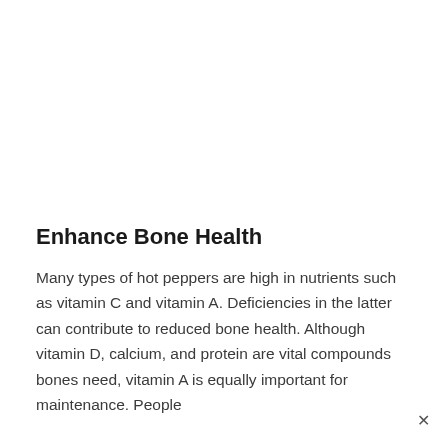Enhance Bone Health
Many types of hot peppers are high in nutrients such as vitamin C and vitamin A. Deficiencies in the latter can contribute to reduced bone health. Although vitamin D, calcium, and protein are vital compounds bones need, vitamin A is equally important for maintenance. People